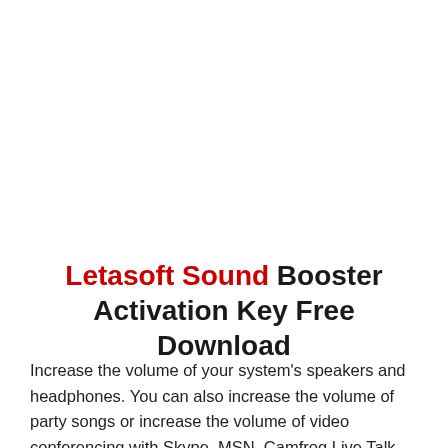Letasoft Sound Booster Activation Key Free Download
Increase the volume of your system's speakers and headphones. You can also increase the volume of party songs or increase the volume of video conferencing with Skype, MSN, Camfrog Live Talk, and many other calling programs. Helps you make poorly recorded sounds more